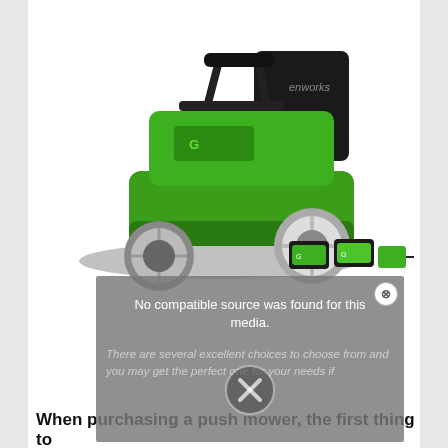[Figure (photo): A green and black Greenworks electric push lawn mower with large wheels, shown with two battery packs and a charger beside it.]
[Figure (screenshot): A video player overlay showing 'No compatible source was found for this media.' with a close button (X circle) and watermark italic text: 'There are several excellent choices to choose from and you may get the perfect one for your needs if']
When purchasing a push mower, the first thing to